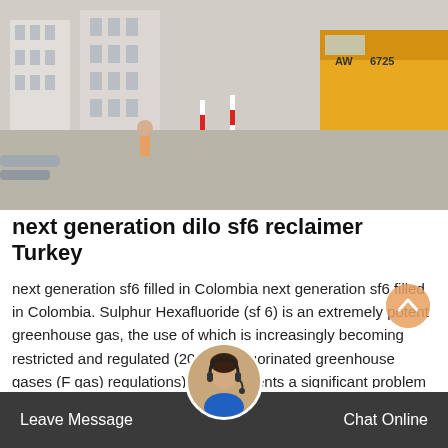[Figure (photo): Construction site photo showing a yellow truck/vehicle on the right side, construction workers and equipment on the left, concrete road surface, and multi-story buildings in the background.]
next generation dilo sf6 reclaimer Turkey
next generation sf6 filled in Colombia next generation sf6 filled in Colombia. Sulphur Hexafluoride (sf 6) is an extremely potent greenhouse gas, the use of which is increasingly becoming restricted and regulated (2014 EU fluorinated greenhouse gases (F gas) regulations). This presents a significant problem to network operators as gaz sf6 is an excellent insulating medium which is used